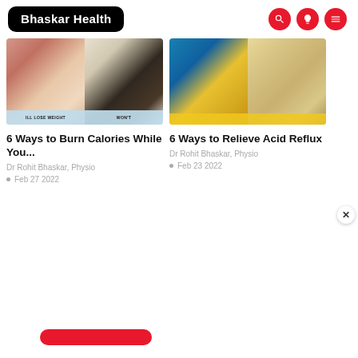Bhaskar Health
[Figure (photo): Two images side by side: woman sleeping and man sleeping, with caption bars reading 'ILL LOSE WEIGHT' and 'WON'T']
6 Ways to Burn Calories While You...
Dr Rohit Bhaskar, Physio
Feb 27 2022
[Figure (photo): Two images side by side: banana being peeled and person holding stomach]
6 Ways to Relieve Acid Reflux
Dr Rohit Bhaskar, Physio
Feb 23 2022